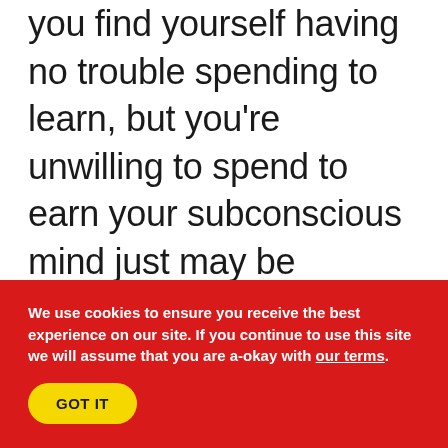you find yourself having no trouble spending to learn, but you're unwilling to spend to earn your subconscious mind just may be keeping you in continuous student status, which is holding you back on becoming a professional. This is an upper limit problem.
We use cookies to ensure you receive the best experience on our site. If you continue to use this site we will assume that you are a-okay with our terms.
GOT IT